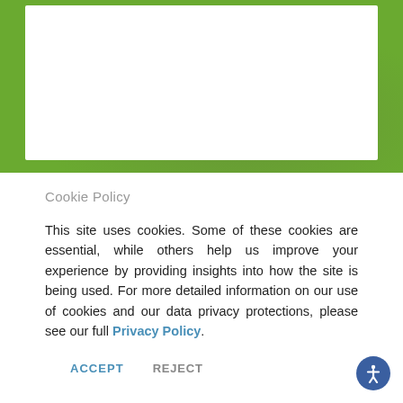[Figure (screenshot): Green background banner with a white card/panel overlaid at the top portion of the page]
Cookie Policy
This site uses cookies. Some of these cookies are essential, while others help us improve your experience by providing insights into how the site is being used. For more detailed information on our use of cookies and our data privacy protections, please see our full Privacy Policy.
ACCEPT
REJECT